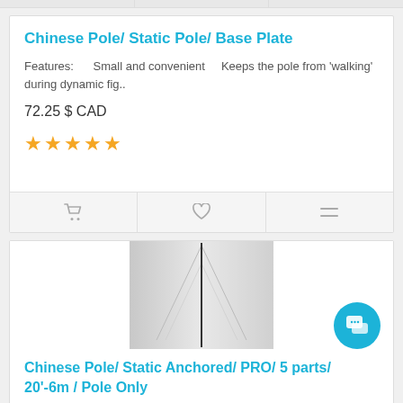Chinese Pole/ Static Pole/ Base Plate
Features:  Small and convenient  Keeps the pole from 'walking' during dynamic fig..
72.25 $ CAD
[Figure (other): Five gold star rating icons]
[Figure (other): Action bar with cart, heart, and equalizer icons]
[Figure (photo): Chinese pole / static anchored pole product photo showing a thin vertical pole with diagonal braces on a light grey background]
Chinese Pole/ Static Anchored/ PRO/ 5 parts/ 20'-6m / Pole Only
Our Static Poles, also called Chinese poles are top quality to help performers achieve their best.